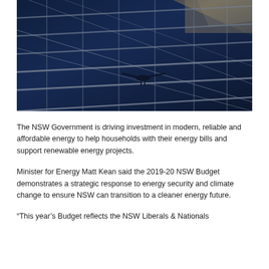[Figure (photo): Aerial/close-up photograph of dark blue solar panels with metal framing and wiring visible, taken at an angle showing multiple rows of photovoltaic panels.]
The NSW Government is driving investment in modern, reliable and affordable energy to help households with their energy bills and support renewable energy projects.
Minister for Energy Matt Kean said the 2019-20 NSW Budget demonstrates a strategic response to energy security and climate change to ensure NSW can transition to a cleaner energy future.
“This year’s Budget reflects the NSW Liberals & Nationals